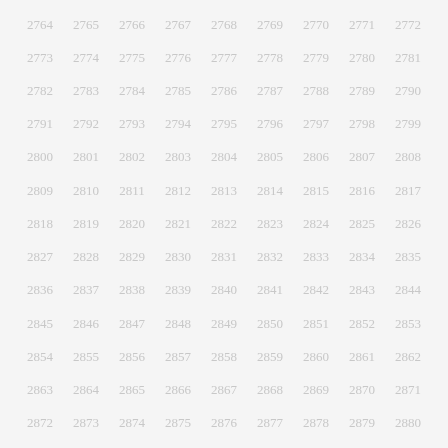2764 2765 2766 2767 2768 2769 2770 2771 2772
2773 2774 2775 2776 2777 2778 2779 2780 2781
2782 2783 2784 2785 2786 2787 2788 2789 2790
2791 2792 2793 2794 2795 2796 2797 2798 2799
2800 2801 2802 2803 2804 2805 2806 2807 2808
2809 2810 2811 2812 2813 2814 2815 2816 2817
2818 2819 2820 2821 2822 2823 2824 2825 2826
2827 2828 2829 2830 2831 2832 2833 2834 2835
2836 2837 2838 2839 2840 2841 2842 2843 2844
2845 2846 2847 2848 2849 2850 2851 2852 2853
2854 2855 2856 2857 2858 2859 2860 2861 2862
2863 2864 2865 2866 2867 2868 2869 2870 2871
2872 2873 2874 2875 2876 2877 2878 2879 2880